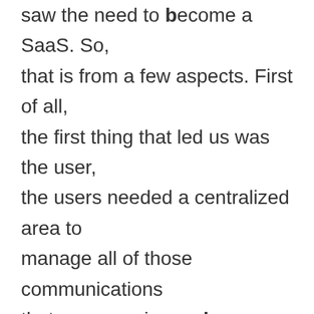saw the need to become a SaaS. So, that is from a few aspects. First of all, the first thing that led us was the user, the users needed a centralized area to manage all of those communications that were coming on because basically what I tell him that what WP feedback the plug-in used to do is just, you put it on a client's website and it allows you to annotate or visually collaborate right on the website itself.